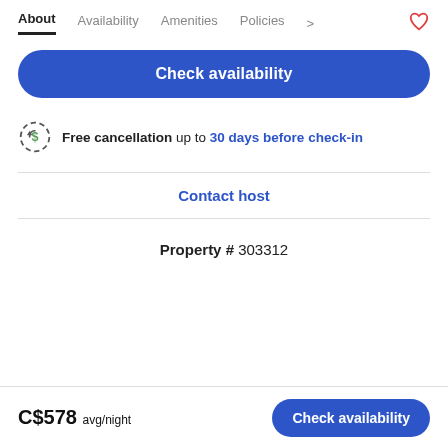About | Availability | Amenities | Policies
Check availability
Free cancellation up to 30 days before check-in
Contact host
Property # 303312
C$578 avg/night  Check availability